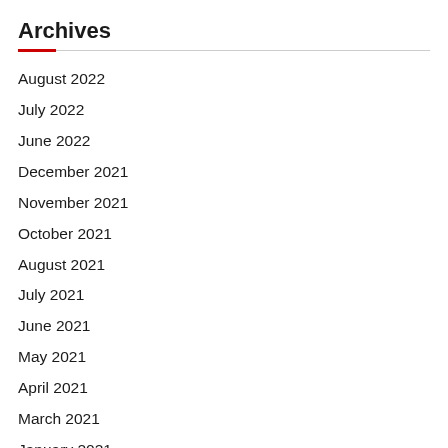Archives
August 2022
July 2022
June 2022
December 2021
November 2021
October 2021
August 2021
July 2021
June 2021
May 2021
April 2021
March 2021
January 2021